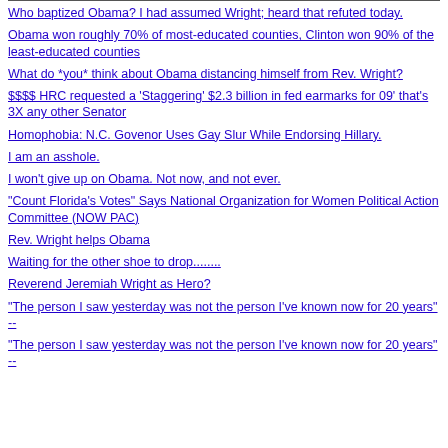Who baptized Obama? I had assumed Wright; heard that refuted today.
Obama won roughly 70% of most-educated counties, Clinton won 90% of the least-educated counties
What do *you* think about Obama distancing himself from Rev. Wright?
$$$$ HRC requested a 'Staggering' $2.3 billion in fed earmarks for 09' that's 3X any other Senator
Homophobia: N.C. Govenor Uses Gay Slur While Endorsing Hillary.
I am an asshole.
I won't give up on Obama. Not now, and not ever.
"Count Florida's Votes" Says National Organization for Women Political Action Committee (NOW PAC)
Rev. Wright helps Obama
Waiting for the other shoe to drop........
Reverend Jeremiah Wright as Hero?
"The person I saw yesterday was not the person I've known now for 20 years" --
"The person I saw yesterday was not the person I've known now for 20 years" --